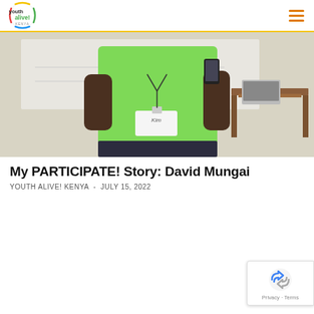Youth Alive! Kenya — navigation header
[Figure (photo): A young person in a bright green T-shirt wearing a name badge reading 'Kim', holding a phone, speaking in a room with a table in the background.]
My PARTICIPATE! Story: David Mungai
YOUTH ALIVE! KENYA  -  JULY 15, 2022